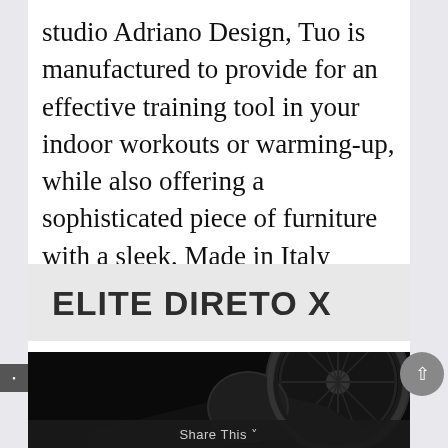studio Adriano Design, Tuo is manufactured to provide for an effective training tool in your indoor workouts or warming-up, while also offering a sophisticated piece of furniture with a sleek, Made in Italy design.
ELITE DIRETO X
[Figure (photo): Dark product photo of the Elite Direto X indoor bike trainer, showing a close-up of the flywheel/resistance unit against a black background. A 'Share This' bar with a chevron arrow appears at the bottom.]